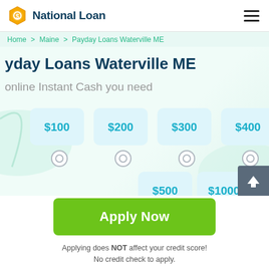National Loan
Home > Maine > Payday Loans Waterville ME
Payday Loans Waterville ME
online Instant Cash you need
[Figure (screenshot): Loan amount selector with buttons: $100, $200, $300, $400, $500, $1000 with radio button selectors below each]
Apply Now
Applying does NOT affect your credit score! No credit check to apply.